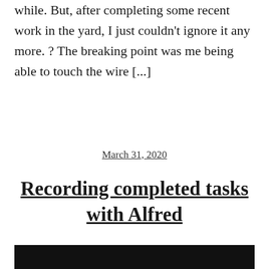while. But, after completing some recent work in the yard, I just couldn't ignore it any more. ? The breaking point was me being able to touch the wire [...]
March 31, 2020
Recording completed tasks with Alfred
[Figure (photo): Dark/black image area at bottom of page]